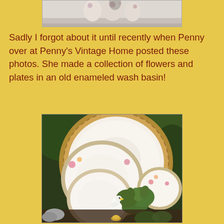[Figure (photo): Top portion of a photo showing flowers and decorative items on a light background, partially cropped at top of page]
Sadly I forgot about it until recently when Penny over at Penny's Vintage Home posted these photos. She made a collection of flowers and plates in an old enameled wash basin!
[Figure (photo): A collection of vintage floral china plates of various sizes arranged with green plants and a small white duck figurine in what appears to be an enameled wash basin, photographed outdoors]